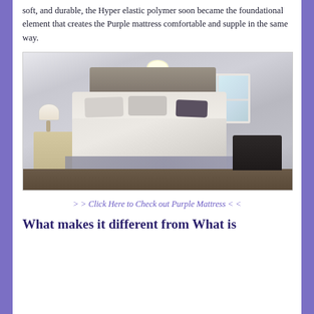soft, and durable, the Hyper elastic polymer soon became the foundational element that creates the Purple mattress comfortable and supple in the same way.
[Figure (photo): A bright, modern bedroom with a large bed covered in white/light grey bedding and multiple pillows. A white lamp sits on a gold-frame nightstand to the left. A framed artwork hangs on the wall above the headboard. A window with natural light is on the right wall. A black bench and round side table are at the foot of the bed on the right. Dark wood flooring with a grey area rug.]
> > Click Here to Check out Purple Mattress < <
What makes it different from What is